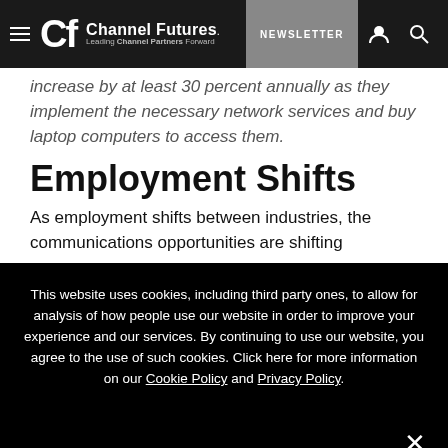Channel Futures — Leading Channel Partners Forward | NEWSLETTER
increase by at least 30 percent annually as they implement the necessary network services and buy laptop computers to access them.
Employment Shifts
As employment shifts between industries, the communications opportunities are shifting
This website uses cookies, including third party ones, to allow for analysis of how people use our website in order to improve your experience and our services. By continuing to use our website, you agree to the use of such cookies. Click here for more information on our Cookie Policy and Privacy Policy.